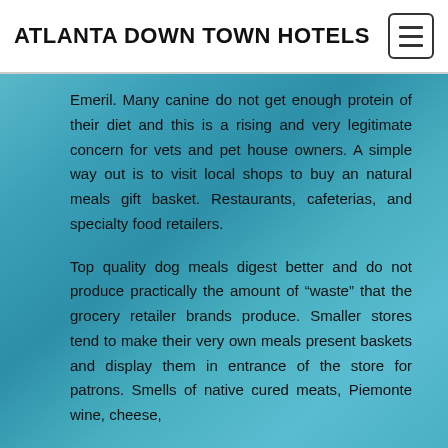ATLANTA DOWN TOWN HOTELS
[Figure (photo): Background photo of overwater bungalows with turquoise tropical water, partially visible on left side and behind text content area]
Emeril. Many canine do not get enough protein of their diet and this is a rising and very legitimate concern for vets and pet house owners. A simple way out is to visit local shops to buy an natural meals gift basket. Restaurants, cafeterias, and specialty food retailers.
Top quality dog meals digest better and do not produce practically the amount of “waste” that the grocery retailer brands produce. Smaller stores tend to make their very own meals present baskets and display them in entrance of the store for patrons. Smells of native cured meats, Piemonte wine, cheese,